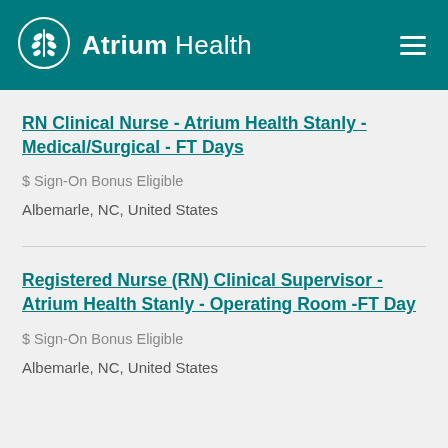Atrium Health
RN Clinical Nurse - Atrium Health Stanly - Medical/Surgical - FT Days
$ Sign-On Bonus Eligible
Albemarle, NC, United States
Registered Nurse (RN) Clinical Supervisor - Atrium Health Stanly - Operating Room -FT Day
$ Sign-On Bonus Eligible
Albemarle, NC, United States